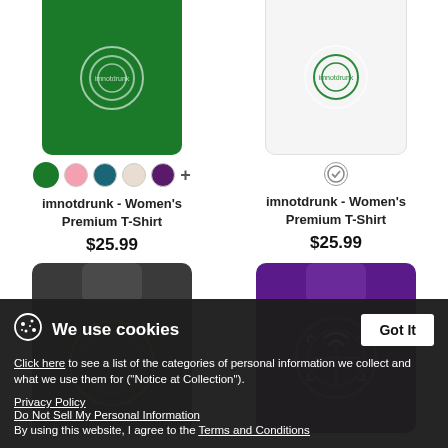[Figure (photo): Green women's premium T-shirt with circular logo on front, partially cropped at top]
[Figure (photo): White women's premium T-shirt with circular green logo on front, partially cropped at top]
imnotdrunk - Women's Premium T-Shirt
$25.99
imnotdrunk - Women's Premium T-Shirt
$25.99
[Figure (photo): Dark charcoal/black hoodie shown from back with neon green circular logo]
[Figure (photo): Purple hoodie with white/purple circular cross/wifi logo on front]
We use cookies
Click here to see a list of the categories of personal information we collect and what we use them for ("Notice at Collection").
Privacy Policy
Do Not Sell My Personal Information
By using this website, I agree to the Terms and Conditions
Got It